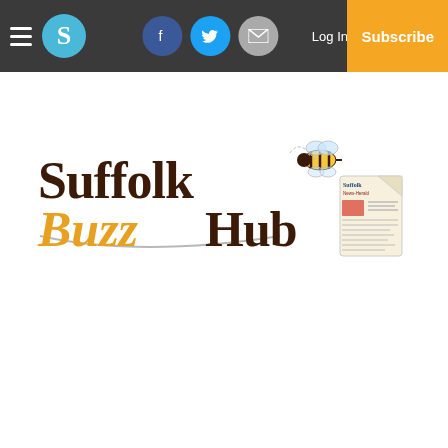Navigation bar with hamburger menu, S logo, Facebook, Twitter, Email icons, Log In, Subscribe
[Figure (logo): Suffolk Buzz Hub logo with bee graphic and Suffolk News-Herald newspaper illustration]